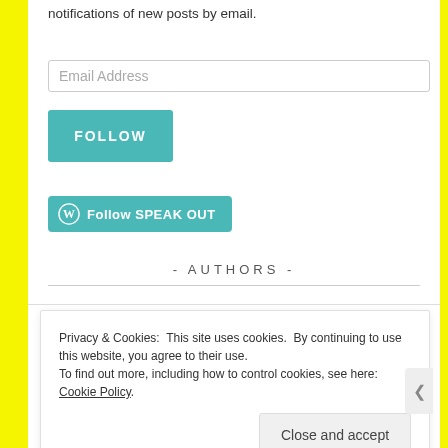notifications of new posts by email.
Email Address
FOLLOW
[Figure (other): WordPress Follow SPEAK OUT button — teal rounded rectangle with WordPress logo icon and text 'Follow SPEAK OUT']
- AUTHORS -
[Figure (photo): Author photo of Ayesha — dark-haired woman, headshot]
Ayesha
Privacy & Cookies: This site uses cookies. By continuing to use this website, you agree to their use.
To find out more, including how to control cookies, see here: Cookie Policy
Close and accept